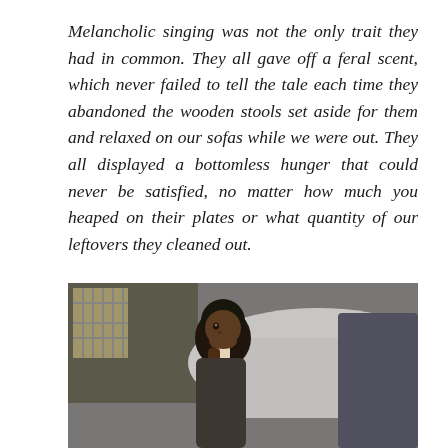Melancholic singing was not the only trait they had in common. They all gave off a feral scent, which never failed to tell the tale each time they abandoned the wooden stools set aside for them and relaxed on our sofas while we were out. They all displayed a bottomless hunger that could never be satisfied, no matter how much you heaped on their plates or what quantity of our leftovers they cleaned out.
[Figure (photo): A young Black child holding what appears to be food near their mouth, photographed in front of a car and a building with latticed windows in the background. The image is in color with dark tones.]